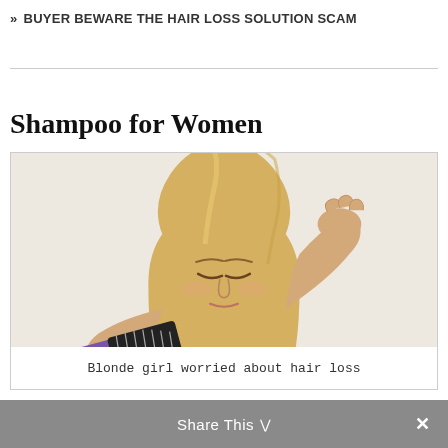» BUYER BEWARE THE HAIR LOSS SOLUTION SCAM
Shampoo for Women
[Figure (photo): Blonde woman looking down at a hairbrush with hair loss, holding her head with one hand, wearing a white t-shirt.]
Blonde girl worried about hair loss
Share This ∨   ✕